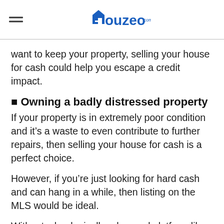Houzeo.com
want to keep your property, selling your house for cash could help you escape a credit impact.
🏠 Owning a badly distressed property
If your property is in extremely poor condition and it's a waste to even contribute to further repairs, then selling your house for cash is a perfect choice.
However, if you're just looking for hard cash and can hang in a while, then listing on the MLS would be ideal.
With a technologically advanced platform like